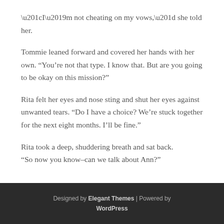“I’m not cheating on my vows,” she told her.
Tommie leaned forward and covered her hands with her own.  “You’re not that type.  I know that.  But are you going to be okay on this mission?”
Rita felt her eyes and nose sting and shut her eyes against unwanted tears.  “Do I have a choice?  We’re stuck together for the next eight months.  I’ll be fine.”
Rita took a deep, shuddering breath and sat back.  “So now you know–can we talk about Ann?”
Designed by Elegant Themes | Powered by WordPress